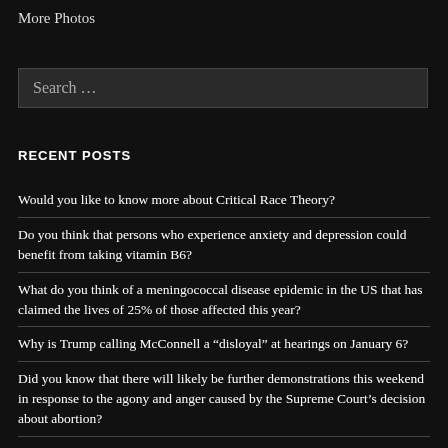More Photos
Search …
RECENT POSTS
Would you like to know more about Critical Race Theory?
Do you think that persons who experience anxiety and depression could benefit from taking vitamin B6?
What do you think of a meningococcal disease epidemic in the US that has claimed the lives of 25% of those affected this year?
Why is Trump calling McConnell a “disloyal” at hearings on January 6?
Did you know that there will likely be further demonstrations this weekend in response to the agony and anger caused by the Supreme Court’s decision about abortion?